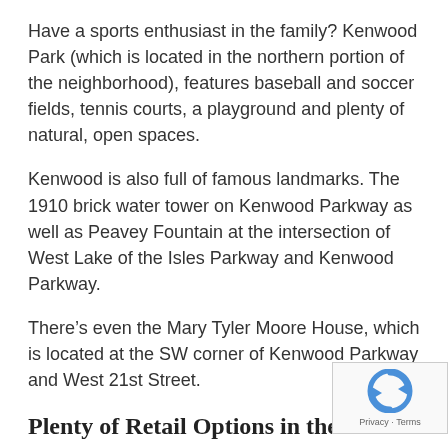Have a sports enthusiast in the family? Kenwood Park (which is located in the northern portion of the neighborhood), features baseball and soccer fields, tennis courts, a playground and plenty of natural, open spaces.
Kenwood is also full of famous landmarks. The 1910 brick water tower on Kenwood Parkway as well as Peavey Fountain at the intersection of West Lake of the Isles Parkway and Kenwood Parkway.
There's even the Mary Tyler Moore House, which is located at the SW corner of Kenwood Parkway and West 21st Street.
Plenty of Retail Options in the Area
There are a ton of local businesses that are sure to satisfy all of your needs and wants as a local resident.